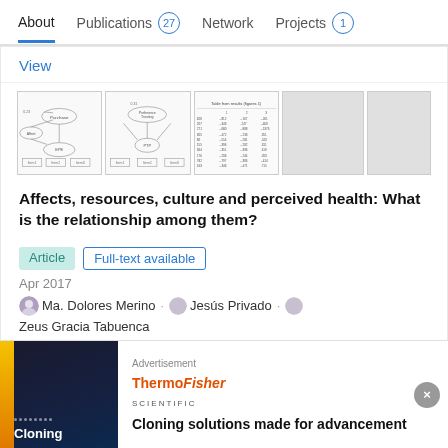About  Publications 27  Network  Projects 1
View
[Figure (other): Thumbnails of article figures: structural equation model diagrams and a data table]
Affects, resources, culture and perceived health: What is the relationship among them?
Article  Full-text available
Apr 2017
Ma. Dolores Merino · Jesús Privado · Zeus Gracia Tabuenca
Advertisement  Cloning solutions made for advancement